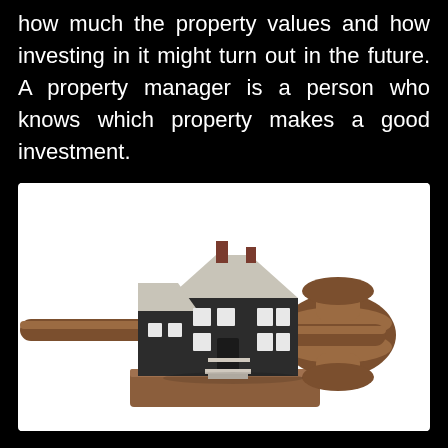how much the property values and how investing in it might turn out in the future. A property manager is a person who knows which property makes a good investment.
[Figure (photo): A miniature model house sitting on a wooden gavel block, with a large wooden judge's gavel beside it — symbolizing real estate auction or legal property matters. White background inside image.]
...